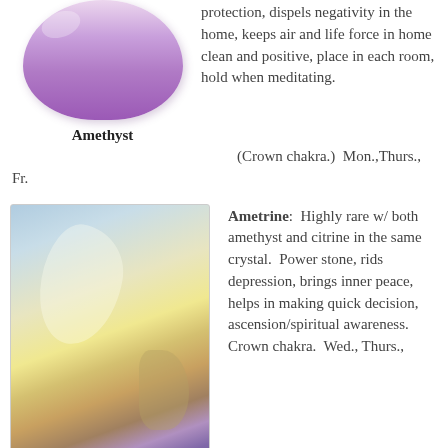[Figure (photo): Photo of a polished amethyst crystal, purple in color, rounded/tumbled shape, on white background]
Amethyst
protection, dispels negativity in the home, keeps air and life force in home clean and positive, place in each room, hold when meditating.  (Crown chakra.)  Mon.,Thurs., Fr.
[Figure (photo): Photo of a raw ametrine crystal specimen showing both purple amethyst and yellow citrine sections, on light blue-grey background]
Ametrine:  Highly rare w/ both amethyst and citrine in the same crystal.  Power stone, rids depression, brings inner peace, helps in making quick decision, ascension/spiritual awareness.  Crown chakra.  Wed., Thurs.,